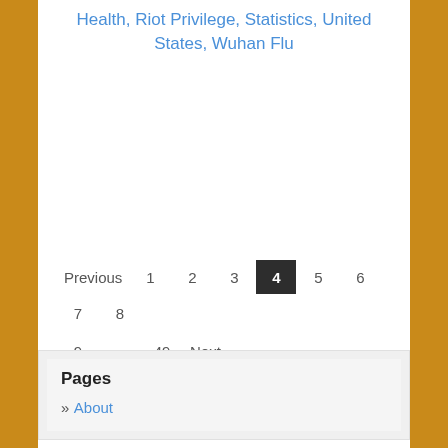Health, Riot Privilege, Statistics, United States, Wuhan Flu
Previous 1 2 3 4 5 6 7 8 9 … 49 Next
Pages
» About